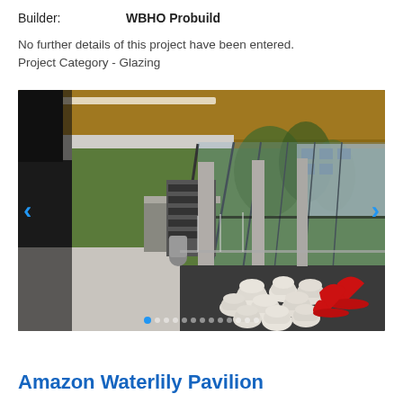Builder:    WBHO Probuild
No further details of this project have been entered.
Project Category - Glazing
[Figure (photo): Interior architectural photo showing a modern glazed building interior with floor-to-ceiling glass panels, concrete columns, red rocking chairs, white sculptural stools on a dark floor, and a reception/service counter. Navigation arrows on left and right sides. Dot pagination indicator at bottom.]
Amazon Waterlily Pavilion